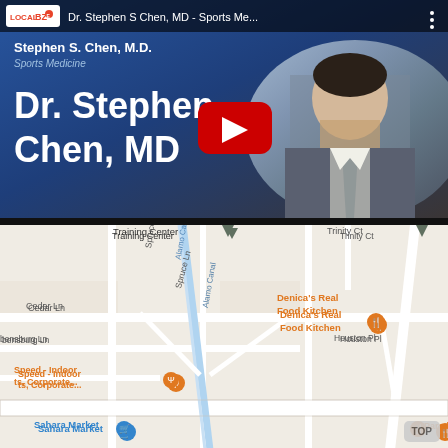[Figure (screenshot): YouTube video thumbnail showing Dr. Stephen S Chen, MD - Sports Medicine. Blue background with doctor's photo on right side, large white text 'Dr. Stephen Chen, MD', YouTube play button in center, LocalBize logo and video title in toolbar.]
[Figure (map): Google Maps screenshot showing area around Dublin Blvd with locations: Training Center, Trinity Ct, Raven Ave, Scarlett Dr, Cedar Ln, Spruce Ln, Alamo Canal, Houston Pl, Denica's Real Food Kitchen, Speed - Indoor ts, Corporate..., IHOP, Sahara Market, Paradise Biryani Pointe, Dublin Blvd. TOP button visible in lower right.]